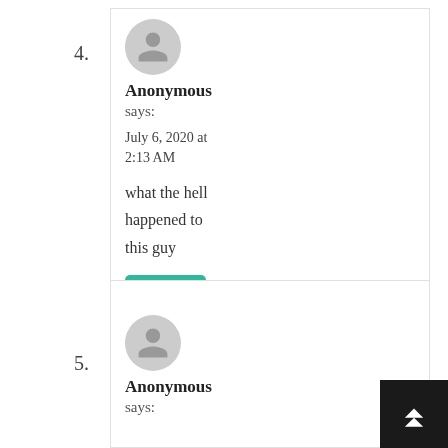4. Anonymous says: July 6, 2020 at 2:13 AM — what the hell happened to this guy
5. Anonymous says: